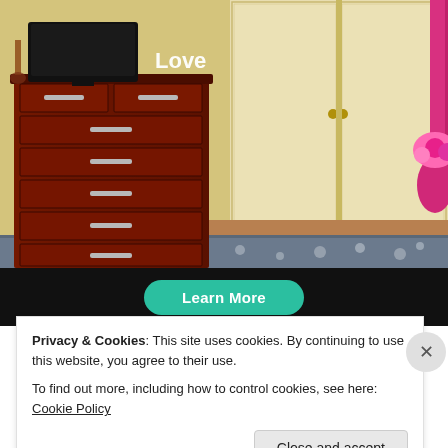[Figure (photo): A bedroom photo showing a dark wood chest of drawers with a TV and 'Love' sign on top, large cream-colored wardrobe doors, a pink vase with flowers, and a bed with a decorative grey spread in the foreground.]
[Figure (screenshot): A black banner area with a teal 'Learn More' button in rounded pill shape.]
Privacy & Cookies: This site uses cookies. By continuing to use this website, you agree to their use.
To find out more, including how to control cookies, see here: Cookie Policy
Close and accept